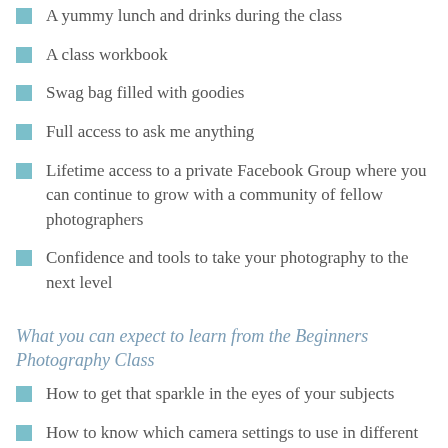A yummy lunch and drinks during the class
A class workbook
Swag bag filled with goodies
Full access to ask me anything
Lifetime access to a private Facebook Group where you can continue to grow with a community of fellow photographers
Confidence and tools to take your photography to the next level
What you can expect to learn from the Beginners Photography Class
How to get that sparkle in the eyes of your subjects
How to know which camera settings to use in different situations
How to take sharp pictures with a beautiful blur in the background
How to improve your images exposure (not